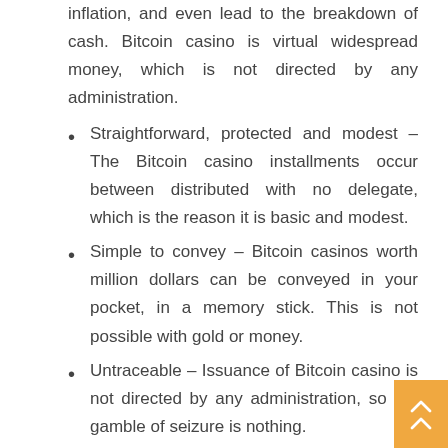inflation, and even lead to the breakdown of cash. Bitcoin casino is virtual widespread money, which is not directed by any administration.
Straightforward, protected and modest – The Bitcoin casino installments occur between distributed with no delegate, which is the reason it is basic and modest.
Simple to convey – Bitcoin casinos worth million dollars can be conveyed in your pocket, in a memory stick. This is not possible with gold or money.
Untraceable – Issuance of Bitcoin casino is not directed by any administration, so the gamble of seizure is nothing.